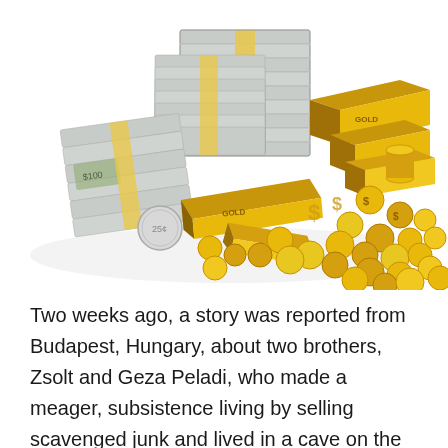[Figure (illustration): 3D illustration of a large pile of money including stacks of US dollar bills bound with straps, gold bars/bullion, gold coins with dollar signs, and one silver coin, all arranged on a white background.]
Two weeks ago, a story was reported from Budapest, Hungary, about two brothers, Zsolt and Geza Peladi, who made a meager, subsistence living by selling scavenged junk and lived in a cave on the outskirts of the